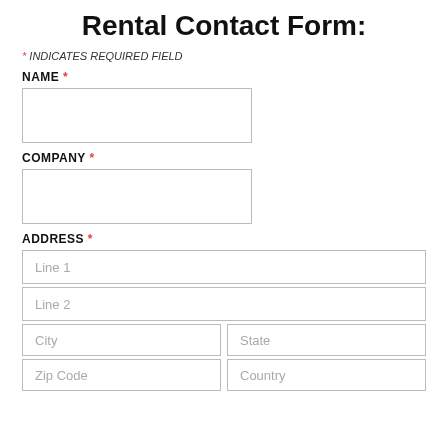Rental Contact Form:
* INDICATES REQUIRED FIELD
NAME *
COMPANY *
ADDRESS *
Line 1
Line 2
City
State
Zip Code
Country